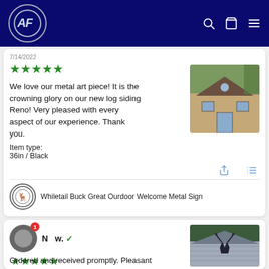AF logo, search icon, cart icon, menu icon
7/14/2022
[Figure (other): Five green stars rating]
We love our metal art piece! It is the crowning glory on our new log siding Reno! Very pleased with every aspect of our experience. Thank you.
Item type:
36in / Black
[Figure (photo): Photo of a log-sided house with a round decorative window]
Whiletail Buck Great Ourdoor Welcome Metal Sign
[Figure (logo): Circular deer/wildlife logo mark]
N...w.
[Figure (other): Five green stars rating]
Ordered and received promptly. Pleasant
[Figure (photo): Photo of a garage peak with a black metal deer silhouette art piece mounted on grey siding]